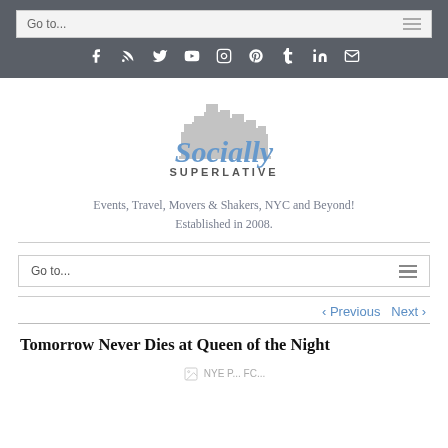Go to...
[Figure (infographic): Social media icons row: Facebook, RSS, Twitter, YouTube, Instagram, Pinterest, Tumblr, LinkedIn, Email - white icons on dark grey background]
[Figure (logo): Socially Superlative logo - blue cursive text 'Socially' with grey city skyline above, 'SUPERLATIVE' in grey block letters below]
Events, Travel, Movers & Shakers, NYC and Beyond! Established in 2008.
Go to...
< Previous   Next >
Tomorrow Never Dies at Queen of the Night
[Figure (photo): Partially visible image at bottom of page, appears to be a photo with caption text beginning with 'NYE...']